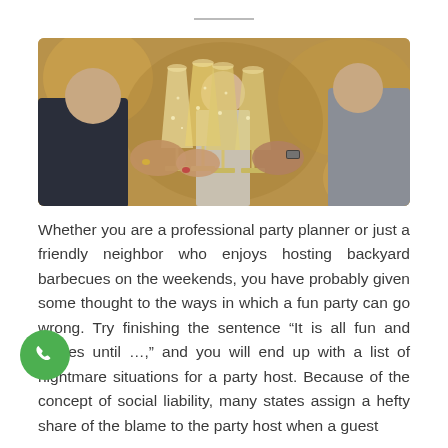[Figure (photo): People clinking champagne glasses at a party, warm bokeh background, hands visible holding glasses.]
Whether you are a professional party planner or just a friendly neighbor who enjoys hosting backyard barbecues on the weekends, you have probably given some thought to the ways in which a fun party can go wrong. Try finishing the sentence “It is all fun and games until …,” and you will end up with a list of nightmare situations for a party host. Because of the concept of social liability, many states assign a hefty share of the blame to the party host when a guest